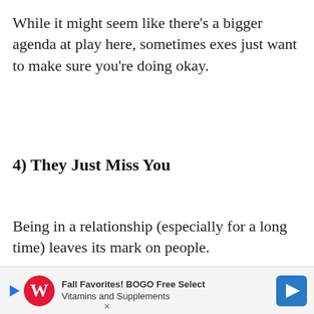While it might seem like there's a bigger agenda at play here, sometimes exes just want to make sure you're doing okay.
4) They Just Miss You
Being in a relationship (especially for a long time) leaves its mark on people.
Things that meant so little suddenly meant so much; the company you took for granted is now gone; there's just a big hole in your life where someone else used to
[Figure (infographic): Advertisement banner: Fall Favorites! BOGO Free Select Vitamins and Supplements with Walgreens logo and navigation arrow]